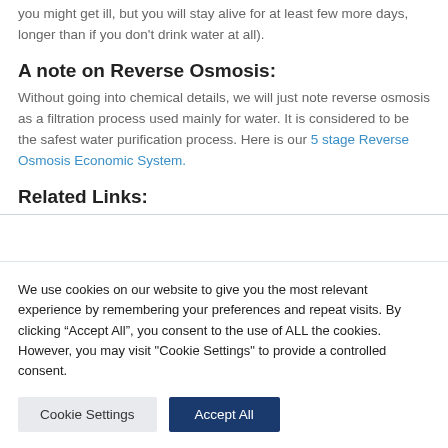you might get ill, but you will stay alive for at least few more days, longer than if you don't drink water at all).
A note on Reverse Osmosis:
Without going into chemical details, we will just note reverse osmosis as a filtration process used mainly for water. It is considered to be the safest water purification process. Here is our 5 stage Reverse Osmosis Economic System.
Related Links:
We use cookies on our website to give you the most relevant experience by remembering your preferences and repeat visits. By clicking “Accept All”, you consent to the use of ALL the cookies. However, you may visit "Cookie Settings" to provide a controlled consent.